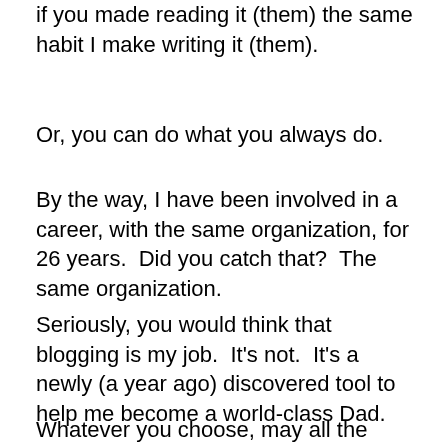if you made reading it (them) the same habit I make writing it (them).
Or, you can do what you always do.
By the way, I have been involved in a career, with the same organization, for 26 years.  Did you catch that?  The same organization.
Seriously, you would think that blogging is my job.  It’s not.  It’s a newly (a year ago) discovered tool to help me become a world-class Dad.
Whatever you choose, may all the blessings